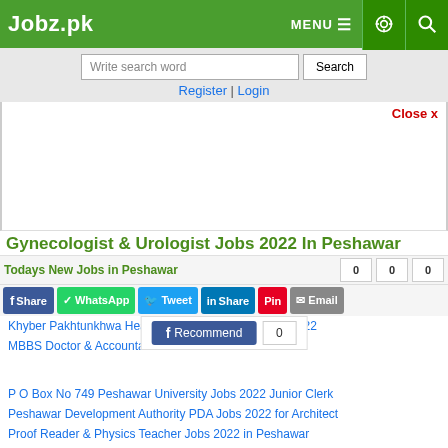Jobz.pk — MENU, settings, search icons
Write search word | Search | Register | Login
[Figure (screenshot): Advertisement / blank white area]
Close x
Gynecologist & Urologist Jobs 2022 In Peshawar
Todays New Jobs in Peshawar
Share 0 | WhatsApp | Tweet 0 | Share 0 | Pin 0 | Email 0
Khyber Pakhtunkhwa Health Care Commission Jobs 2022
MBBS Doctor & Accountant Jobs 2022 in Peshawar
P O Box No 749 Peshawar University Jobs 2022 Junior Clerk
Peshawar Development Authority PDA Jobs 2022 for Architect
Proof Reader & Physics Teacher Jobs 2022 in Peshawar
Population Welfare Department PWD Charsadda Jobs 2022
Urdu Teacher & Social Studies Teacher Jobs 2022 in Peshawar
0 Recommend
Job Closed | Save | Comment | Print